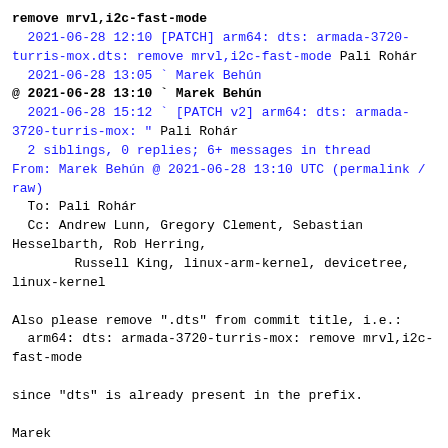remove mrvl,i2c-fast-mode
  2021-06-28 12:10 [PATCH] arm64: dts: armada-3720-turris-mox.dts: remove mrvl,i2c-fast-mode Pali Rohár
  2021-06-28 13:05 ` Marek Behún
@ 2021-06-28 13:10 ` Marek Behún
  2021-06-28 15:12 ` [PATCH v2] arm64: dts: armada-3720-turris-mox: " Pali Rohár
  2 siblings, 0 replies; 6+ messages in thread
From: Marek Behún @ 2021-06-28 13:10 UTC (permalink / raw)
  To: Pali Rohár
  Cc: Andrew Lunn, Gregory Clement, Sebastian Hesselbarth, Rob Herring,
        Russell King, linux-arm-kernel, devicetree, linux-kernel

Also please remove ".dts" from commit title, i.e.:
  arm64: dts: armada-3720-turris-mox: remove mrvl,i2c-fast-mode

since "dts" is already present in the prefix.

Marek

^ permalink raw reply  [flat|nested] 6+ messages in thread
* [PATCH v2] arm64: dts: armada-3720-turris-mox: remove mrvl,i2c-fast-mode